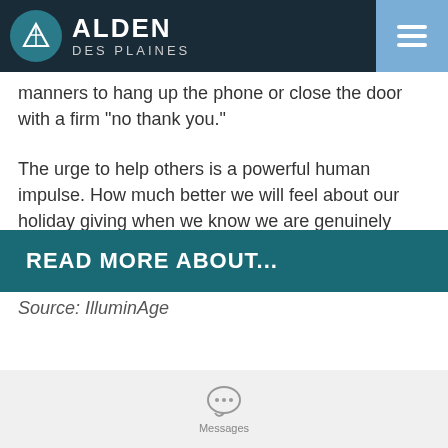ALDEN DES PLAINES
manners to hang up the phone or close the door with a firm “no thank you.”
The urge to help others is a powerful human impulse. How much better we will feel about our holiday giving when we know we are genuinely helping those in need, rather than supporting a crook’s lavish lifestyle!
Source: IlluminAge
READ MORE ABOUT...
Messages